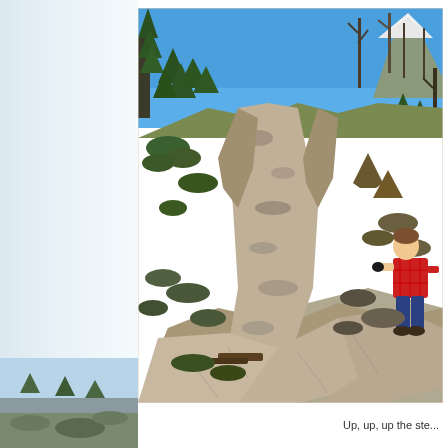[Figure (photo): A steep rocky mountain trail with evergreen trees on both sides, a clear blue sky above, snow-capped mountains visible in the background, and a person in a red plaid shirt climbing up the right side of the trail.]
Up, up, up the ste...